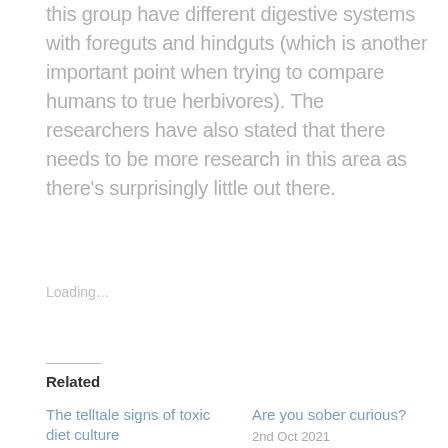this group have different digestive systems with foreguts and hindguts (which is another important point when trying to compare humans to true herbivores). The researchers have also stated that there needs to be more research in this area as there's surprisingly little out there.
Loading...
Related
The telltale signs of toxic diet culture
5th Sep 2020
In "Body"
Are you sober curious?
2nd Oct 2021
In "Body"